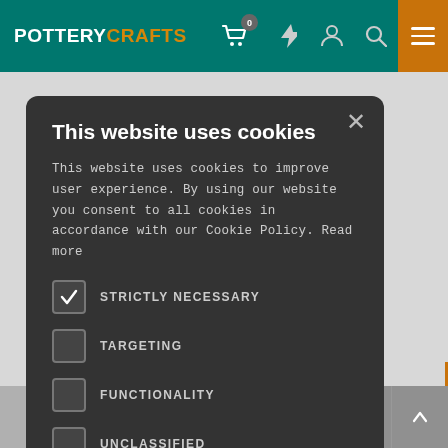POTTERY CRAFTS — navigation bar with cart, lightning, user, search, and menu icons
[Figure (screenshot): Cookie consent modal overlay on PotteryCrafts website. Dark modal with title 'This website uses cookies', body text about cookie policy, checkboxes for STRICTLY NECESSARY (checked), TARGETING (unchecked), FUNCTIONALITY (unchecked), UNCLASSIFIED (unchecked), ACCEPT ALL and DECLINE ALL buttons, and SHOW DETAILS link.]
This website uses cookies
This website uses cookies to improve user experience. By using our website you consent to all cookies in accordance with our Cookie Policy. Read more
STRICTLY NECESSARY
TARGETING
FUNCTIONALITY
UNCLASSIFIED